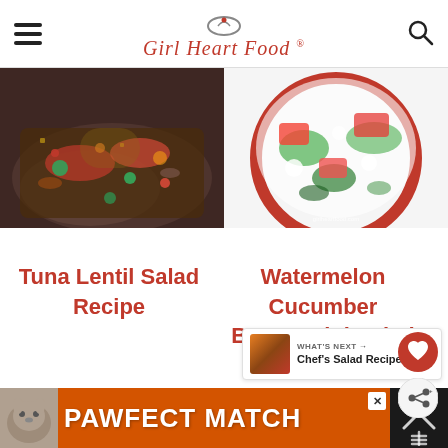Girl Heart Food
[Figure (photo): Photo of tuna lentil salad on a dark plate with colorful vegetables and grains]
[Figure (photo): Photo of watermelon cucumber bocconcini salad in a bowl with red and green colors, watermark girlheartfood.com]
Tuna Lentil Salad Recipe
Watermelon Cucumber Bocconcini Salad
[Figure (infographic): Favorite/heart icon button (pink circle with white heart)]
[Figure (infographic): Share icon button (light circle with share symbol)]
WHAT'S NEXT → Chef's Salad Recipe...
[Figure (photo): Advertisement banner: PAWFECT MATCH with cat photo, orange background]
[Figure (infographic): Close/X icon and fork icon on dark background, bottom right]